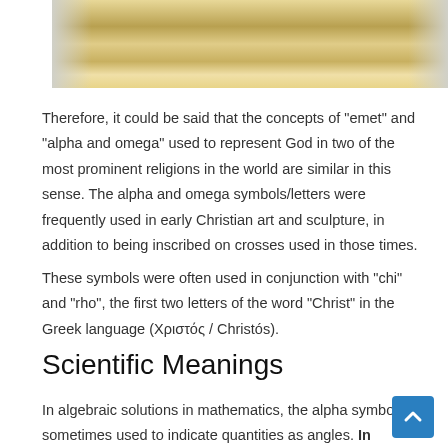[Figure (photo): Partial view of what appears to be an ornamental or sculptural artifact with golden/ochre colored wing-like or feather-like forms against a light background.]
Therefore, it could be said that the concepts of “emet” and “alpha and omega” used to represent God in two of the most prominent religions in the world are similar in this sense. The alpha and omega symbols/letters were frequently used in early Christian art and sculpture, in addition to being inscribed on crosses used in those times.
These symbols were often used in conjunction with “chi” and “rho”, the first two letters of the word “Christ” in the Greek language (Χριστός / Christós).
Scientific Meanings
In algebraic solutions in mathematics, the alpha symbol is sometimes used to indicate quantities as angles. In physiochemistry, it is used to represent the coefficient of thermal